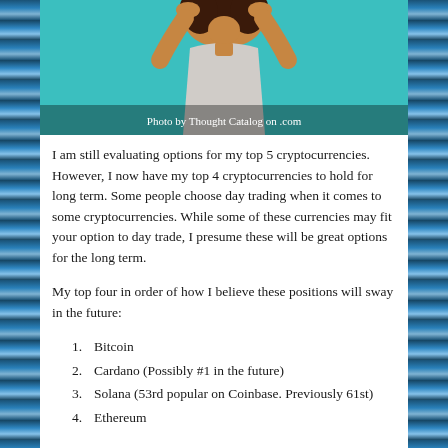[Figure (photo): Photo of a smiling woman with curly hair against a teal background. Caption reads 'Photo by Thought Catalog on [unsplash.com]']
I am still evaluating options for my top 5 cryptocurrencies. However, I now have my top 4 cryptocurrencies to hold for long term. Some people choose day trading when it comes to some cryptocurrencies. While some of these currencies may fit your option to day trade, I presume these will be great options for the long term.
My top four in order of how I believe these positions will sway in the future:
1. Bitcoin
2. Cardano (Possibly #1 in the future)
3. Solana (53rd popular on Coinbase. Previously 61st)
4. Ethereum